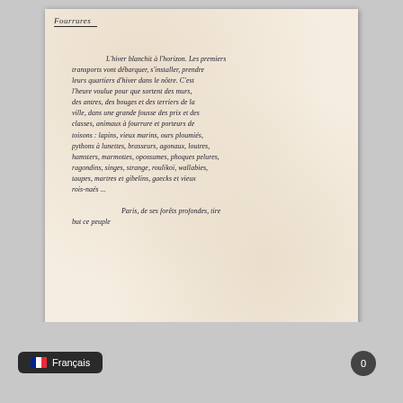Fourrures
L'hiver blanchit à l'horizon. Les premiers transports vont débarquer, s'installer, prendre leurs quartiers d'hiver dans le nôtre. C'est l'heure voulue pour que sortent des murs, des antres, des bouges et des terriers de la ville, dans une grande fousse des prix et des classes, animaux à fourrure et porteurs de toisons : lapins, vieux marins, ours ploumiés, pythons à lunettes, brasseurs, agonaux, loutres, hamsters, marmottes, opossums, phoques pelures, ragondins, singes, strange, roulikoï, wallabies, taupes, martres et gibelins, gaecks et vieux rois-naés ...
Paris, de ses forêts profondes, tire but ce peuple